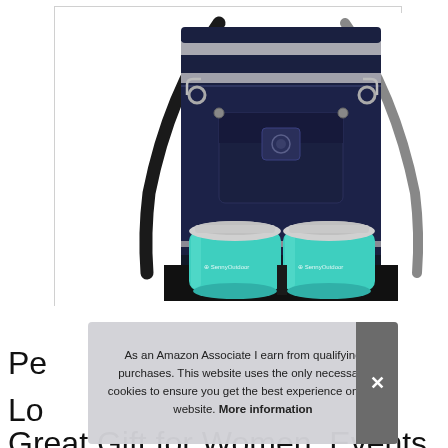[Figure (photo): Product photo of a navy blue insulated wine bottle carrier bag with silver stripe accents, cross-body shoulder strap, front snap-flap pocket with logo patch, and two teal/turquoise stainless steel stemless wine tumblers with lids labeled 'SennyOutdoor' sitting in front of the bag on a white background.]
As an Amazon Associate I earn from qualifying purchases. This website uses the only necessary cookies to ensure you get the best experience on our website. More information
Perfect Insulated Wine Tote - Keeps Wine Cool Longer - Great Gift for Women, Events, Wine